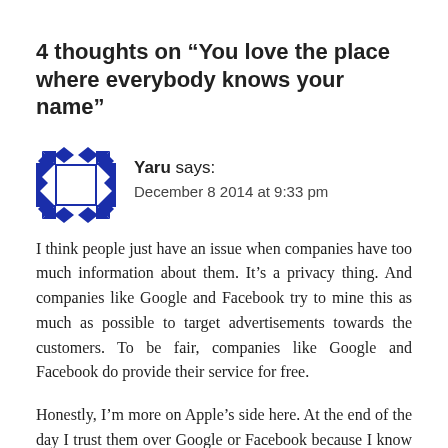4 thoughts on “You love the place where everybody knows your name”
[Figure (illustration): Blue geometric avatar/icon for user Yaru]
Yaru says:
December 8 2014 at 9:33 pm
I think people just have an issue when companies have too much information about them. It’s a privacy thing. And companies like Google and Facebook try to mine this as much as possible to target advertisements towards the customers. To be fair, companies like Google and Facebook do provide their service for free.
Honestly, I’m more on Apple’s side here. At the end of the day I trust them over Google or Facebook because I know data mining isn’t their main business model. But at the same time, I wouldn’t necesarily say that the other business model